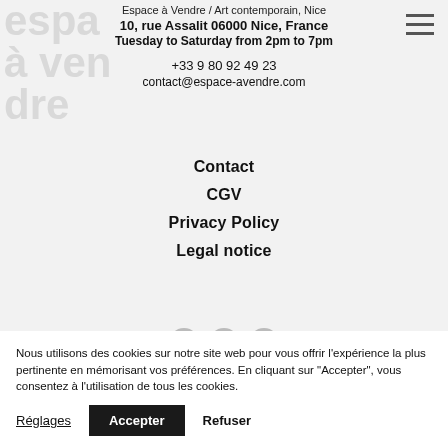Espace à Vendre / Art contemporain, Nice
10, rue Assalit 06000 Nice, France
Tuesday to Saturday from 2pm to 7pm
+33 9 80 92 49 23
contact@espace-avendre.com
Contact
CGV
Privacy Policy
Legal notice
Nous utilisons des cookies sur notre site web pour vous offrir l'expérience la plus pertinente en mémorisant vos préférences. En cliquant sur "Accepter", vous consentez à l'utilisation de tous les cookies.